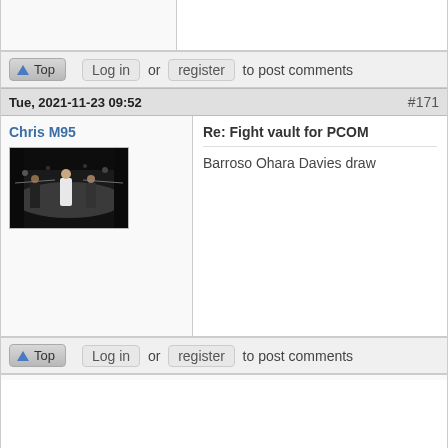(cropped upper post section)
Log in or register to post comments
Tue, 2021-11-23 09:52  #171
Chris M95
[Figure (photo): A boxing ring scene with fighters and a referee in a dark indoor venue]
Re: Fight vault for PCOM
Barroso Ohara Davies draw
Log in or register to post comments